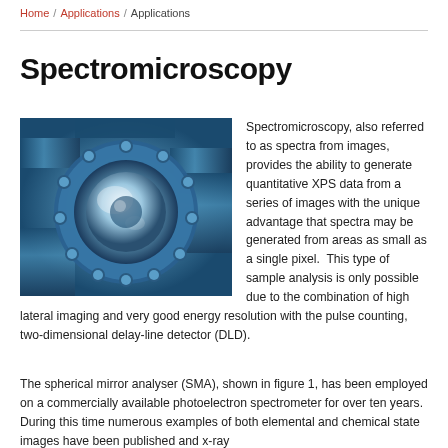Home / Applications / Applications
Spectromicroscopy
[Figure (photo): Close-up photograph of a metallic spherical mirror analyser (SMA) instrument component with circular flange and bolts, rendered in blue-tinted industrial style.]
Spectromicroscopy, also referred to as spectra from images, provides the ability to generate quantitative XPS data from a series of images with the unique advantage that spectra may be generated from areas as small as a single pixel.  This type of sample analysis is only possible due to the combination of high lateral imaging and very good energy resolution with the pulse counting, two-dimensional delay-line detector (DLD).
The spherical mirror analyser (SMA), shown in figure 1, has been employed on a commercially available photoelectron spectrometer for over ten years. During this time numerous examples of both elemental and chemical state images have been published and x-ray photoelectron imaging has become a routine technique to the